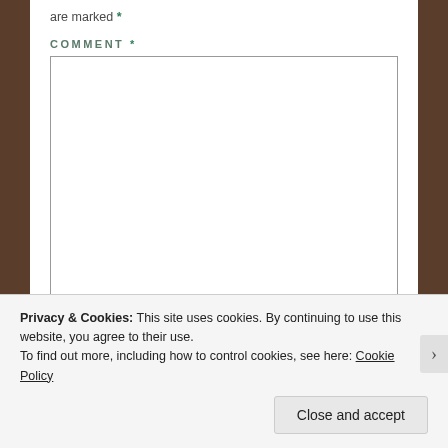are marked *
COMMENT *
Privacy & Cookies: This site uses cookies. By continuing to use this website, you agree to their use.
To find out more, including how to control cookies, see here: Cookie Policy
Close and accept